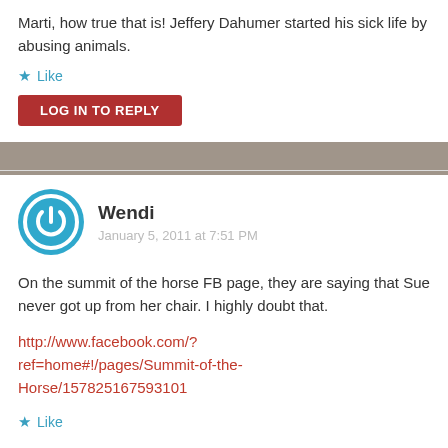Marti, how true that is! Jeffery Dahumer started his sick life by abusing animals.
★ Like
LOG IN TO REPLY
Wendi
January 5, 2011 at 7:51 PM
On the summit of the horse FB page, they are saying that Sue never got up from her chair. I highly doubt that.
http://www.facebook.com/?ref=home#!/pages/Summit-of-the-Horse/157825167593101
★ Like